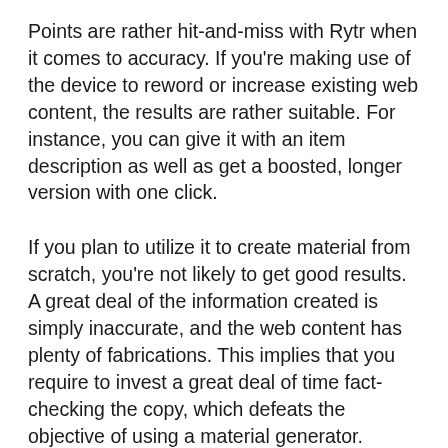Points are rather hit-and-miss with Rytr when it comes to accuracy. If you're making use of the device to reword or increase existing web content, the results are rather suitable. For instance, you can give it with an item description as well as get a boosted, longer version with one click.
If you plan to utilize it to create material from scratch, you're not likely to get good results. A great deal of the information created is simply inaccurate, and the web content has plenty of fabrications. This implies that you require to invest a great deal of time fact-checking the copy, which defeats the objective of using a material generator.